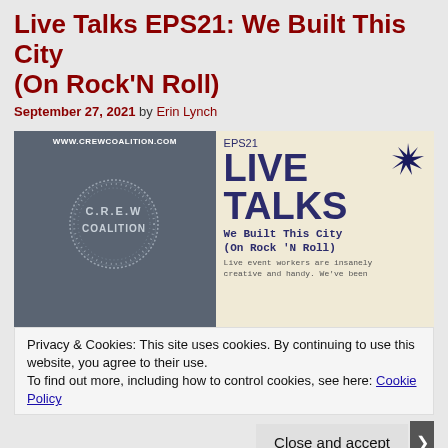Live Talks EPS21: We Built This City (On Rock'N Roll)
September 27, 2021 by Erin Lynch
[Figure (illustration): Podcast episode thumbnail showing C.R.E.W Coalition logo on grey background (left) and EPS21 Live Talks episode title 'We Built This City (On Rock 'N Roll)' on cream background with starburst (right). Small text at bottom says 'Live event workers are insanely creative and handy. We've been']
Privacy & Cookies: This site uses cookies. By continuing to use this website, you agree to their use.
To find out more, including how to control cookies, see here: Cookie Policy
Close and accept
[Figure (photo): Bottom strip showing cityscape reflection in water on left, and text on grey background reading 'outside the box and continue to do what you know and love while we're still open for the']